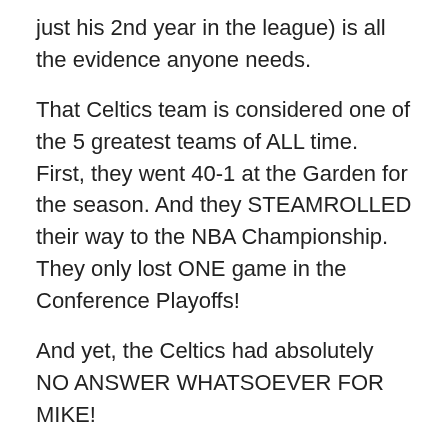just his 2nd year in the league) is all the evidence anyone needs.
That Celtics team is considered one of the 5 greatest teams of ALL time. First, they went 40-1 at the Garden for the season. And they STEAMROLLED their way to the NBA Championship. They only lost ONE game in the Conference Playoffs!
And yet, the Celtics had absolutely NO ANSWER WHATSOEVER FOR MIKE!
Any basketball fan old enough knows Jordan dropped 63 in game 2. But a lot of people don't know he went in for 49 in game one.
And he wasn't as much a “ball hog” as people think. In game three he had 9 assists